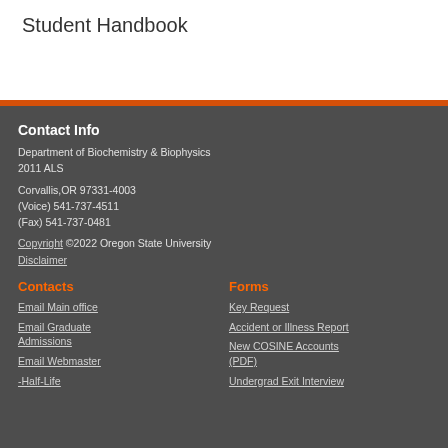Student Handbook
Contact Info
Department of Biochemistry & Biophysics
2011 ALS
Corvallis,OR 97331-4003
(Voice) 541-737-4511
(Fax) 541-737-0481
Copyright ©2022 Oregon State University
Disclaimer
Contacts
Email Main office
Email Graduate Admissions
Email Webmaster
-Half-Life
Forms
Key Request
Accident or Illness Report
New COSINE Accounts (PDF)
Undergrad Exit Interview